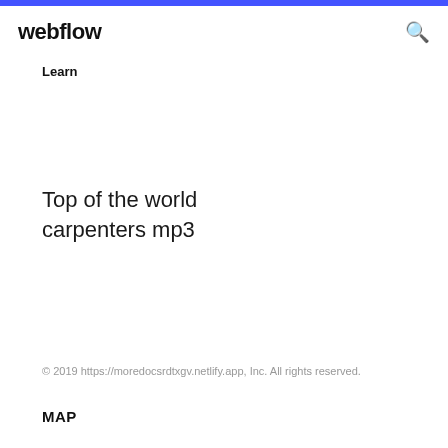webflow
Learn
Top of the world carpenters mp3
© 2019 https://moredocsrdtxgv.netlify.app, Inc. All rights reserved.
MAP